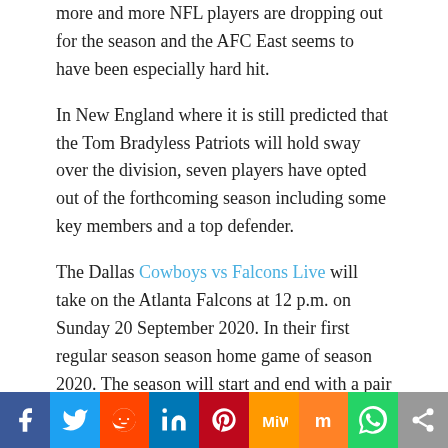more and more NFL players are dropping out for the season and the AFC East seems to have been especially hard hit.
In New England where it is still predicted that the Tom Bradyless Patriots will hold sway over the division, seven players have opted out of the forthcoming season including some key members and a top defender.
The Dallas Cowboys vs Falcons Live will take on the Atlanta Falcons at 12 p.m. on Sunday 20 September 2020. In their first regular season season home game of season 2020. The season will start and end with a pair of tough tests and the Falcons will play a couple of prime-time games in between – all on the road.
Atlanta will lead off the 2020 season in Weeks 1 and 2
Facebook Twitter Reddit LinkedIn Pinterest MeWe Mix WhatsApp Share